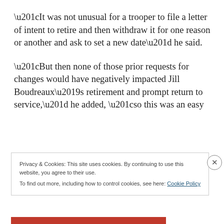“It was not unusual for a trooper to file a letter of intent to retire and then withdraw it for one reason or another and ask to set a new date” he said.
“But then none of those prior requests for changes would have negatively impacted Jill Boudreaux’s retirement and prompt return to service,” he added, “so this was an easy
Privacy & Cookies: This site uses cookies. By continuing to use this website, you agree to their use.
To find out more, including how to control cookies, see here: Cookie Policy